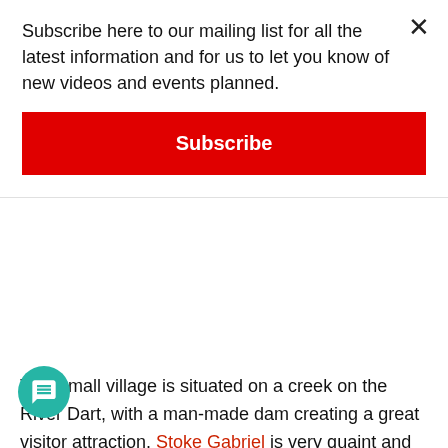Subscribe here to our mailing list for all the latest information and for us to let you know of new videos and events planned.
Subscribe
This small village is situated on a creek on the River Dart, with a man-made dam creating a great visitor attraction. Stoke Gabriel is very quaint and very small, access with a motorhome is not recommended. Parking can be found at the bottom of Mill lane, right at the waters edge. The charge is £5 and from there you can take a walk back up the hill to the village. At the waters edge people enjoy crabbing off the damn. Grab lines can be bought at the small shop along with drinks and snacks. The size of crab you can catch from the damn is actually quite impressive and this spot is popular with young families. After a morning of